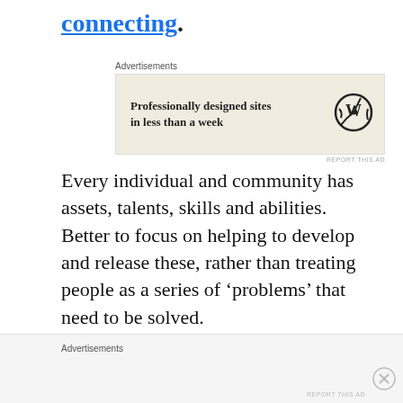connecting.
[Figure (other): Advertisement banner: Professionally designed sites in less than a week, WordPress logo]
Every individual and community has assets, talents, skills and abilities. Better to focus on helping to develop and release these, rather than treating people as a series of ‘problems’ that need to be solved.
If we think of our organisations as platforms to enable people – rather than just as service
Advertisements